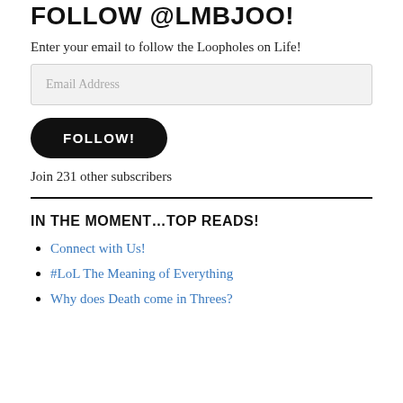FOLLOW @LMBJOO!
Enter your email to follow the Loopholes on Life!
Email Address
FOLLOW!
Join 231 other subscribers
IN THE MOMENT…TOP READS!
Connect with Us!
#LoL The Meaning of Everything
Why does Death come in Threes?